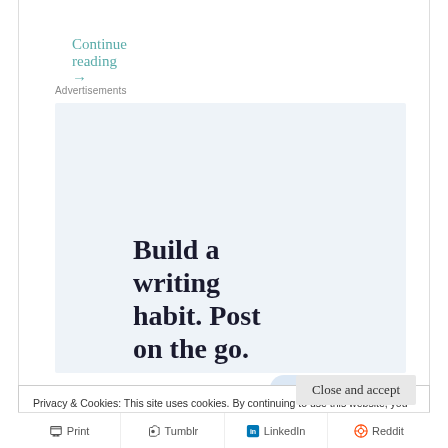Continue reading →
Advertisements
[Figure (infographic): WordPress app advertisement: 'Build a writing habit. Post on the go.' with GET THE APP call to action and WordPress logo icon on light blue background]
Privacy & Cookies: This site uses cookies. By continuing to use this website, you agree to their use.
To find out more, including how to control cookies, see here: Cookie Policy
Close and accept
Print   Tumblr   LinkedIn   Reddit